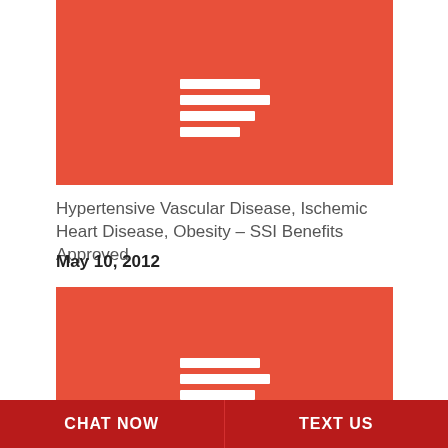[Figure (illustration): Red/orange rectangular block with a white stacked lines icon (like a text/document icon) centered in the upper portion]
Hypertensive Vascular Disease, Ischemic Heart Disease, Obesity – SSI Benefits Approved
May 10, 2012
[Figure (illustration): Red/orange rectangular block with a white stacked lines icon (like a text/document icon) centered in the lower portion]
CHAT NOW   TEXT US